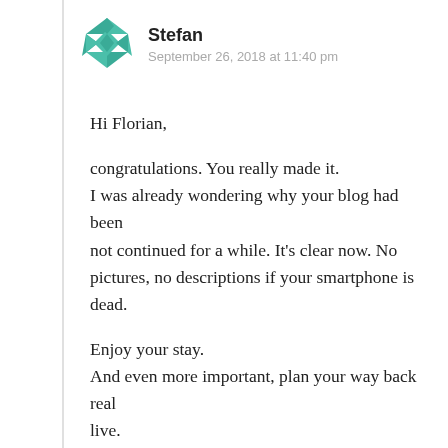[Figure (logo): Teal/green geometric quilt-pattern avatar icon for user Stefan]
Stefan
September 26, 2018 at 11:40 pm
Hi Florian,
congratulations. You really made it.
I was already wondering why your blog had been not continued for a while. It’s clear now. No pictures, no descriptions if your smartphone is dead.
Enjoy your stay.
And even more important, plan your way back real live.
All the Best
Stefan